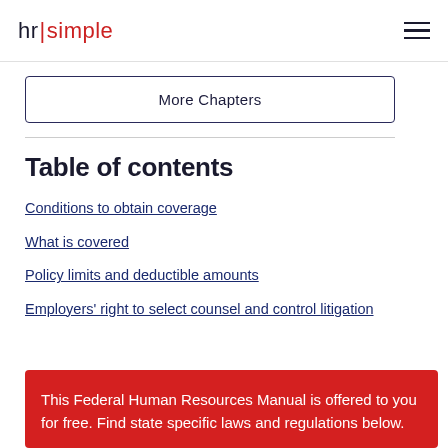hr simple
More Chapters
Table of contents
Conditions to obtain coverage
What is covered
Policy limits and deductible amounts
Employers' right to select counsel and control litigation
This Federal Human Resources Manual is offered to you for free. Find state specific laws and regulations below.